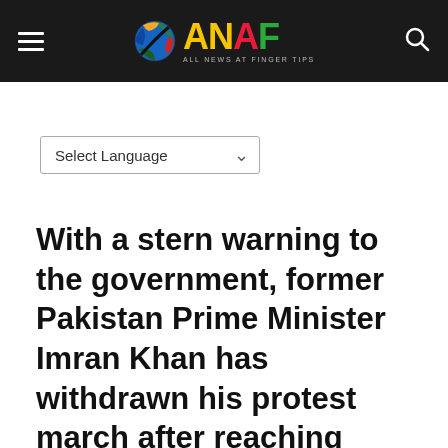ANAF — ALL NEWS AT FINGER TIPS
Select Language
With a stern warning to the government, former Pakistan Prime Minister Imran Khan has withdrawn his protest march after reaching Islamabad.